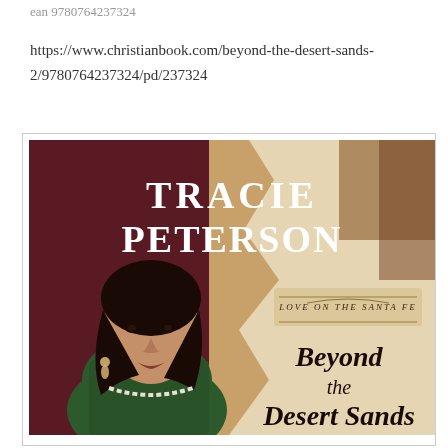ean 9780764237324
https://www.christianbook.com/beyond-the-desert-sands-2/9780764237324/pd/237324
[Figure (illustration): Book cover of 'Beyond the Desert Sands' by Tracie Peterson. Love on the Santa Fe series. Shows a young woman with dark hair wearing a green dress and pearl necklace against a dark red background on the left and sandy/tan torn paper texture on the right. Author name 'TRACIE PETERSON' in large white serif capitals at top. Series label 'LOVE ON THE SANTA FE' in small caps. Title 'Beyond the Desert Sands' in large script font at bottom right.]